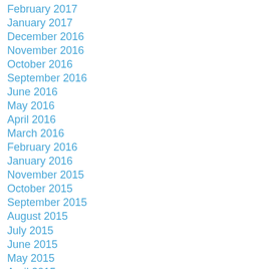February 2017
January 2017
December 2016
November 2016
October 2016
September 2016
June 2016
May 2016
April 2016
March 2016
February 2016
January 2016
November 2015
October 2015
September 2015
August 2015
July 2015
June 2015
May 2015
April 2015
March 2015